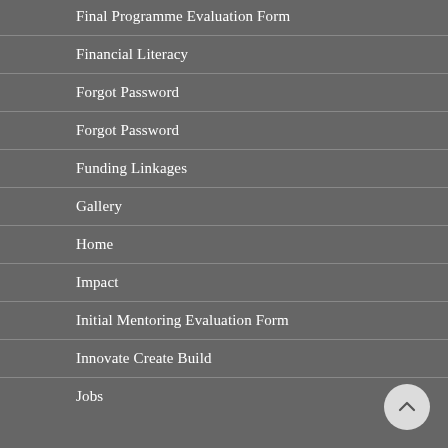Final Programme Evaluation Form
Financial Literacy
Forgot Password
Forgot Password
Funding Linkages
Gallery
Home
Impact
Initial Mentoring Evaluation Form
Innovate Create Build
Jobs
[Figure (illustration): A circular scroll-to-top button with an upward-pointing chevron arrow, positioned in the bottom-right corner of the page.]